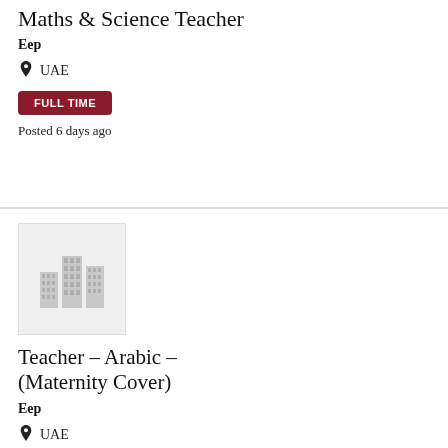Maths & Science Teacher
Eep
UAE
FULL TIME
Posted 6 days ago
[Figure (logo): Company logo placeholder with grey building/city icon on light grey background]
Teacher – Arabic – (Maternity Cover)
Eep
UAE
FULL TIME
Posted 6 days ago